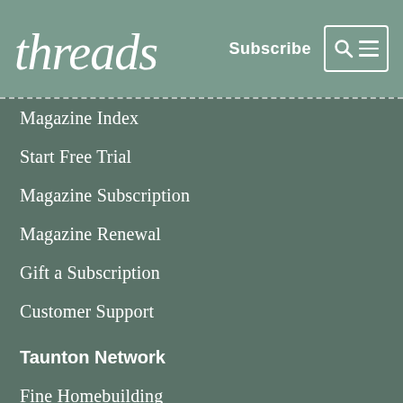threads
Magazine Index
Start Free Trial
Magazine Subscription
Magazine Renewal
Gift a Subscription
Customer Support
Taunton Network
Fine Homebuilding
Green Building Advisor
Fine Gardening
Fine Woodworking